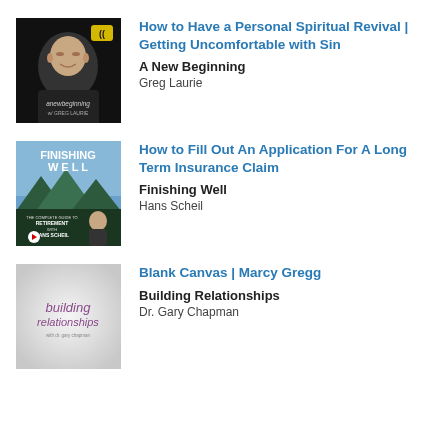[Figure (photo): A New Beginning podcast cover art featuring Greg Laurie, a bald man smiling in a dark jacket, with 'anewbeginning' text and a connectivity icon logo on black background.]
How to Have a Personal Spiritual Revival | Getting Uncomfortable with Sin
A New Beginning
Greg Laurie
[Figure (photo): Finishing Well podcast cover art showing mountain scenery with 'FINISHING WELL - THE COMPLETE GUIDE TO RETIREMENT WITH HANS SCHEIL' text and Hans Scheil's photo.]
How to Fill Out An Application For A Long Term Insurance Claim
Finishing Well
Hans Scheil
[Figure (photo): Building Relationships podcast cover art with 'building relationships' text in purple italic font on light gray background, with subtitle 'with dr. gary chapman'.]
Blank Canvas | Marcy Gregg
Building Relationships
Dr. Gary Chapman